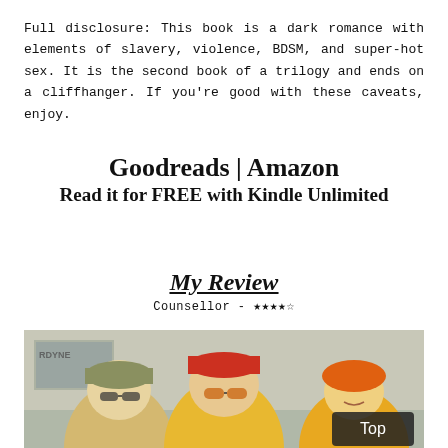Full disclosure: This book is a dark romance with elements of slavery, violence, BDSM, and super-hot sex. It is the second book of a trilogy and ends on a cliffhanger. If you're good with these caveats, enjoy.
Goodreads | Amazon
Read it for FREE with Kindle Unlimited
My Review
Counsellor - ★★★★☆
[Figure (photo): Outdoor street scene with three people wearing hats and sunglasses, dressed in yellow, with a 'Top' button overlay in bottom right corner.]